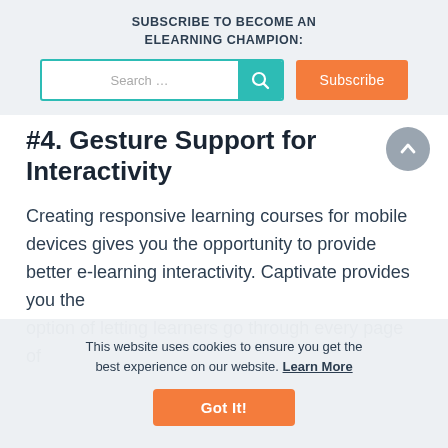SUBSCRIBE TO BECOME AN ELEARNING CHAMPION:
Search ...
Subscribe
#4. Gesture Support for Interactivity
Creating responsive learning courses for mobile devices gives you the opportunity to provide better e-learning interactivity. Captivate provides you the option of letting learners go through every page of
This website uses cookies to ensure you get the best experience on our website. Learn More
Got It!